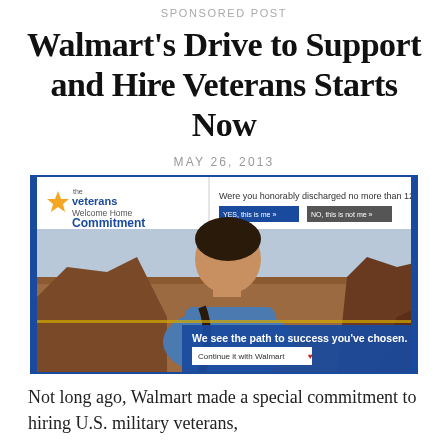SPONSORED POST
Walmart's Drive to Support and Hire Veterans Starts Now
MAY 26, 2013
[Figure (screenshot): Screenshot of a Walmart Veterans Welcome Home Commitment advertisement webpage. The top bar shows the Veterans Welcome Home Commitment logo with a star icon, and asks 'Were you honorably discharged no more than 12 months ago?' with 'YES, this is me »' and 'NO, this is not me »' buttons. Below is a photo of a young male veteran in a desert landscape (Monument Valley). An overlay at the bottom right reads 'We see the path to success you've chosen.' with a 'Continue it with Walmart ♥' button.]
Not long ago, Walmart made a special commitment to hiring U.S. military veterans,